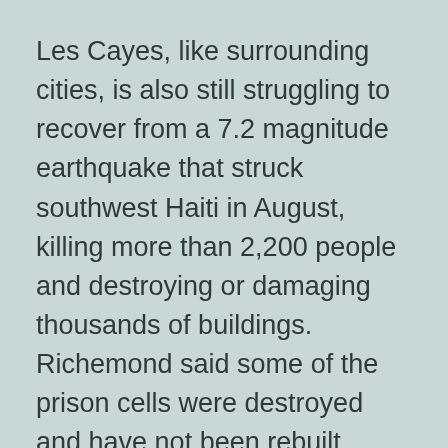Les Cayes, like surrounding cities, is also still struggling to recover from a 7.2 magnitude earthquake that struck southwest Haiti in August, killing more than 2,200 people and destroying or damaging thousands of buildings.
Richemond said some of the prison cells were destroyed and have not been rebuilt, forcing authorities to cram even more people into a smaller space.
The cell occupancy rate in Haiti stands at more